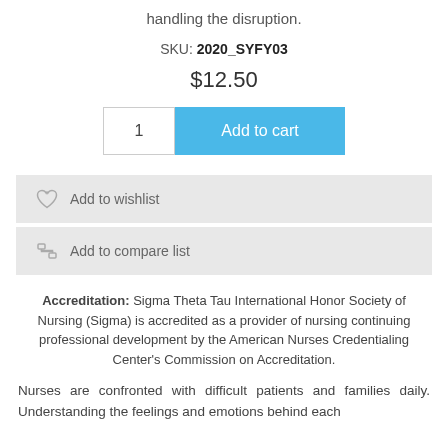handling the disruption.
SKU: 2020_SYFY03
$12.50
1  Add to cart
Add to wishlist
Add to compare list
Accreditation: Sigma Theta Tau International Honor Society of Nursing (Sigma) is accredited as a provider of nursing continuing professional development by the American Nurses Credentialing Center's Commission on Accreditation.
Nurses are confronted with difficult patients and families daily. Understanding the feelings and emotions behind each